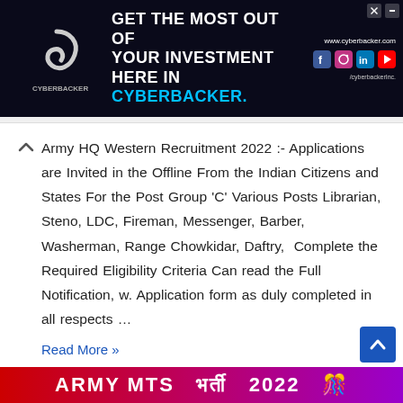[Figure (screenshot): Cyberbacker advertisement banner with dark background, swirl logo, white bold text 'GET THE MOST OUT OF YOUR INVESTMENT ONLY HERE IN CYBERBACKER.' with blue highlight, social media icons, and website URL www.cyberbacker.com]
Army HQ Western Recruitment 2022 :- Applications are Invited in the Offline From the Indian Citizens and States For the Post Group 'C' Various Posts Librarian, Steno, LDC, Fireman, Messenger, Barber, Washerman, Range Chowkidar, Daftry,  Complete the Required Eligibility Criteria Can read the Full Notification, w. Application form as duly completed in all respects …
Read More »
[Figure (screenshot): Army MTS Bharti 2022 banner with Indian Army emblem on white background, red text ARMY, yellow background with black text MTS भर्ती 2022, and scroll-to-top blue button]
[Figure (screenshot): Colorful banner at bottom with text ARMY MTS on purple-red gradient background with decorative elements]